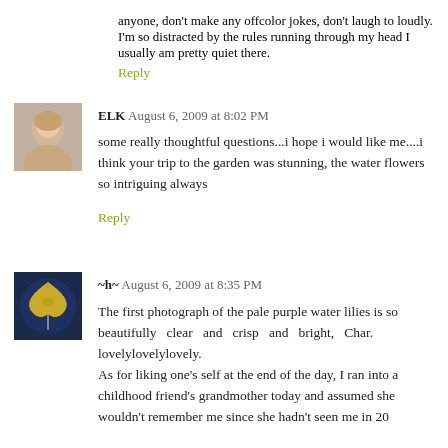At work I try just to keep my mouth closed, don't curse at anyone, don't make any offcolor jokes, don't laugh to loudly. I'm so distracted by the rules running through my head I usually am pretty quiet there.
Reply
ELK  August 6, 2009 at 8:02 PM
some really thoughtful questions...i hope i would like me....i think your trip to the garden was stunning, the water flowers so intriguing always
Reply
[Figure (photo): Avatar photo of commenter ELK, a woman with light hair]
~h~  August 6, 2009 at 8:35 PM
The first photograph of the pale purple water lilies is so beautifully clear and crisp and bright, Char. lovelylovelylovely. As for liking one's self at the end of the day, I ran into a childhood friend's grandmother today and assumed she wouldn't remember me since she hadn't seen me in 20
[Figure (photo): Avatar photo of commenter ~h~, a butterfly on dark background]